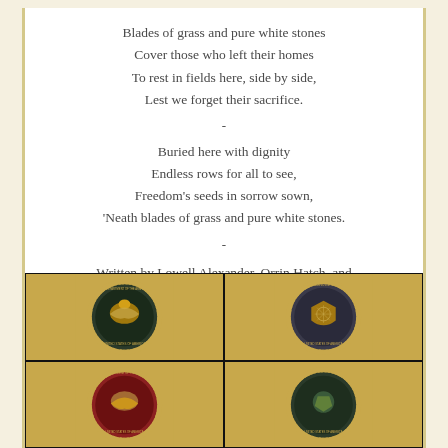Blades of grass and pure white stones
Cover those who left their homes
To rest in fields here, side by side,
Lest we forget their sacrifice.
-
Buried here with dignity
Endless rows for all to see,
Freedom's seeds in sorrow sown,
'Neath blades of grass and pure white stones.
-
Written by Lowell Alexander, Orrin Hatch, and Philip Naish.
[Figure (photo): Four military branch seals (Department of the Army, Department of the Air Force, Department of the Navy, and another branch) shown as floor medallions in a 2x2 grid photo collage.]